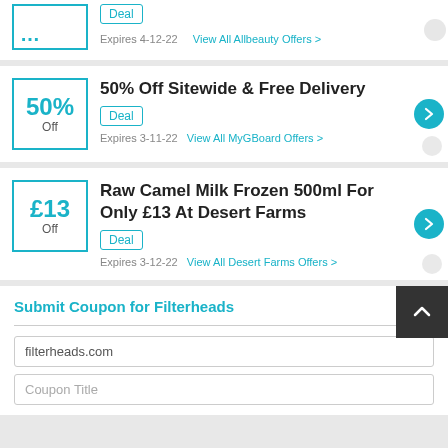Deal | Expires 4-12-22 | View All Allbeauty Offers
50% Off Sitewide & Free Delivery
Deal | Expires 3-11-22 | View All MyGBoard Offers
Raw Camel Milk Frozen 500ml For Only £13 At Desert Farms
Deal | Expires 3-12-22 | View All Desert Farms Offers
Submit Coupon for Filterheads
filterheads.com
Coupon Title